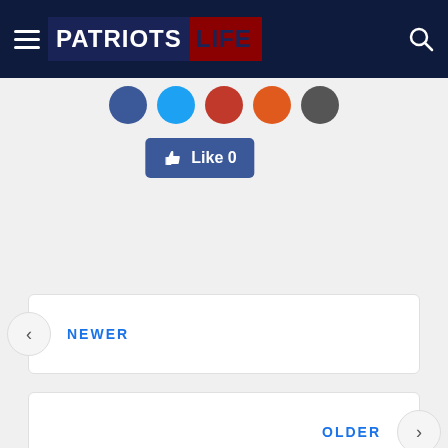[Figure (logo): Patriots Life logo on dark navy header with hamburger menu and search icon]
[Figure (illustration): Row of social media icon circles: Facebook (blue), Twitter (light blue), Pinterest/Reddit (red), Reddit/Google (orange-red), and a dark grey circle]
[Figure (illustration): Facebook Like button with thumbs up icon showing Like 0]
NEWER
OLDER
Comments
Community
Login
Favorite
Sort by Oldest